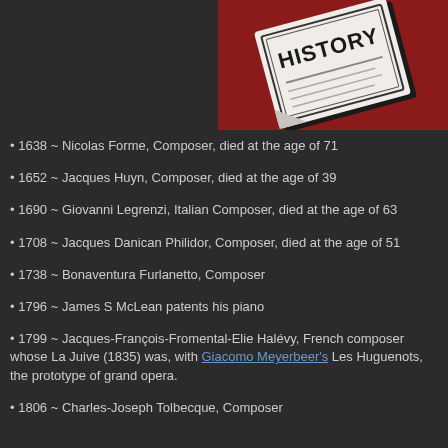[Figure (photo): Newspaper with HISTORY text on cover, tilted on dark red background]
1638 ~ Nicolas Forme, Composer, died at the age of 71
1652 ~ Jacques Huyn, Composer, died at the age of 39
1690 ~ Giovanni Legrenzi, Italian Composer, died at the age of 63
1708 ~ Jacques Danican Philidor, Composer, died at the age of 51
1738 ~ Bonaventura Furlanetto, Composer
1796 ~ James S McLean patents his piano
1799 ~ Jacques-François-Fromental-Elie Halévy, French composer whose La Juive (1835) was, with Giacomo Meyerbeer's Les Huguenots, the prototype of grand opera.
1806 ~ Charles-Joseph Tolbecque, Composer